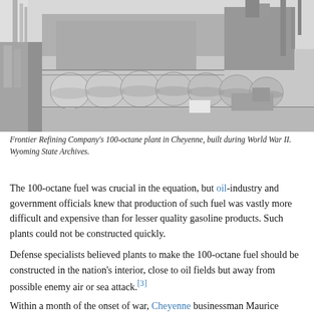[Figure (photo): Black and white aerial/ground-level photograph of Frontier Refining Company's 100-octane plant in Cheyenne, showing large industrial storage tanks, towers, and refinery structures.]
Frontier Refining Company's 100-octane plant in Cheyenne, built during World War II. Wyoming State Archives.
The 100-octane fuel was crucial in the equation, but oil-industry and government officials knew that production of such fuel was vastly more difficult and expensive than for lesser quality gasoline products. Such plants could not be constructed quickly.
Defense specialists believed plants to make the 100-octane fuel should be constructed in the nation's interior, close to oil fields but away from possible enemy air or sea attack.[3]
Within a month of the onset of war, Cheyenne businessman Maurice